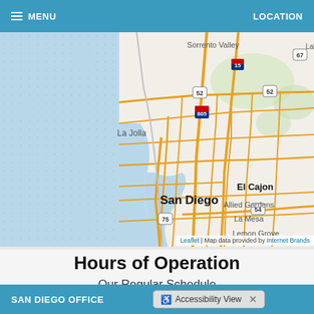MENU   LOCATION
[Figure (map): Street map of San Diego area showing La Jolla, Sorrento Valley, Allied Gardens, El Cajon, La Mesa, Lemon Grove, San Diego, National City with highway markers 15, 52, 67, 54, 75, 805]
Leaflet | Map data provided by Internet Brands
Hours of Operation
Our Regular Schedule
SAN DIEGO OFFICE